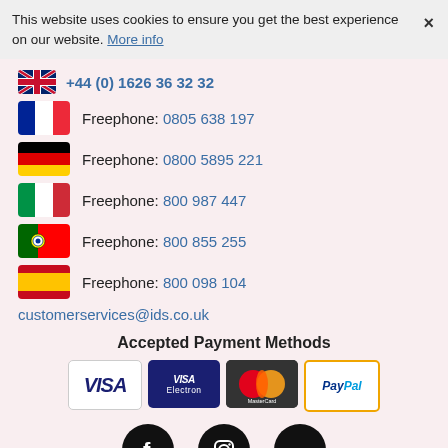This website uses cookies to ensure you get the best experience on our website. More info ×
+44 (0) 1626 36 32 32
Freephone: 0805 638 197
Freephone: 0800 5895 221
Freephone: 800 987 447
Freephone: 800 855 255
Freephone: 800 098 104
customerservices@ids.co.uk
Accepted Payment Methods
[Figure (logo): Payment method logos: Visa, Visa Electron, MasterCard, PayPal]
[Figure (logo): Social media icons: Facebook, Instagram, Pinterest]
© 2022 International Dance Supplies. All Rights reserved.